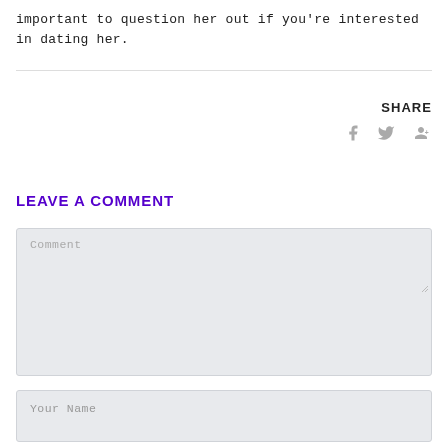important to question her out if you're interested in dating her.
SHARE
[Figure (other): Social share icons: Facebook, Twitter, Google+]
LEAVE A COMMENT
Comment (placeholder text in comment textarea)
Your Name (placeholder text in name input)